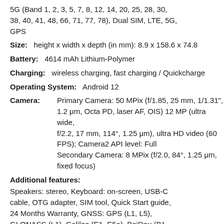5G (Band 1, 2, 3, 5, 7, 8, 12, 14, 20, 25, 28, 30, 38, 40, 41, 48, 66, 71, 77, 78), Dual SIM, LTE, 5G, GPS
Size: height x width x depth (in mm): 8.9 x 158.6 x 74.8
Battery: 4614 mAh Lithium-Polymer
Charging: wireless charging, fast charging / Quickcharge
Operating System: Android 12
Camera: Primary Camera: 50 MPix (f/1.85, 25 mm, 1/1.31", 1.2 μm, Octa PD, laser AF, OIS) 12 MP (ultra wide, f/2.2, 17 mm, 114°, 1.25 μm), ultra HD video (60 FPS); Camera2 API level: Full Secondary Camera: 8 MPix (f/2.0, 84°, 1.25 μm, fixed focus)
Additional features:
Speakers: stereo, Keyboard: on-screen, USB-C cable, OTG adapter, SIM tool, Quick Start guide, 24 Months Warranty, GNSS: GPS (L1, L5), GLONASS (L1), Galileo (E1, E5a), BeiDou (B1